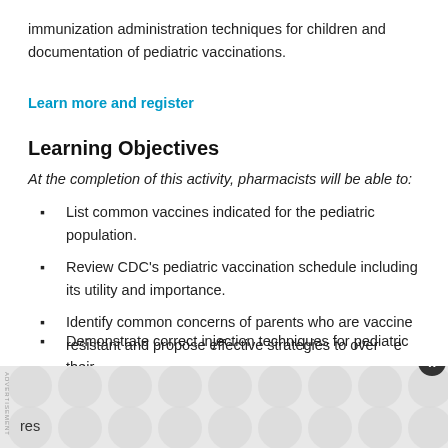immunization administration techniques for children and documentation of pediatric vaccinations.
Learn more and register
Learning Objectives
At the completion of this activity, pharmacists will be able to:
List common vaccines indicated for the pediatric population.
Review CDC's pediatric vaccination schedule including its utility and importance.
Identify common concerns of parents who are vaccine resistant and propose effective strategies to overcome their resistances.
Demonstrate correct injection techniques for pediatric